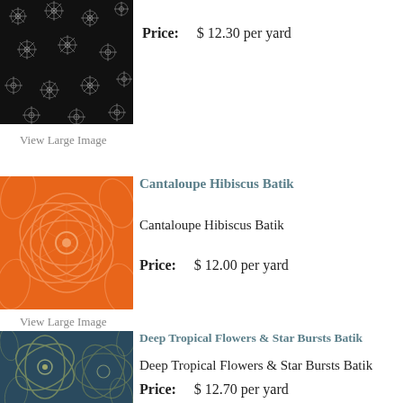[Figure (photo): Black fabric with white snowflake/star pattern (partial, top of page)]
Price:   $ 12.30 per yard
View Large Image
Cantaloupe Hibiscus Batik
[Figure (photo): Orange fabric with white hibiscus/leaf batik pattern]
Cantaloupe Hibiscus Batik
Price:   $ 12.00 per yard
View Large Image
Deep Tropical Flowers & Star Bursts Batik
[Figure (photo): Dark teal/blue fabric with golden tropical flowers and star bursts batik pattern]
Deep Tropical Flowers & Star Bursts Batik
Price:   $ 12.70 per yard